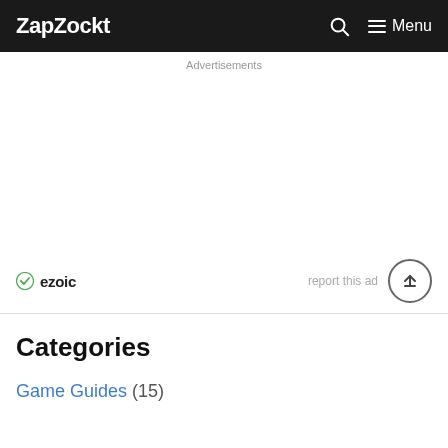ZapZockt
Advertisements
[Figure (other): Advertisement area with ezoic branding and report this ad link with scroll-to-top button]
Categories
Game Guides (15)